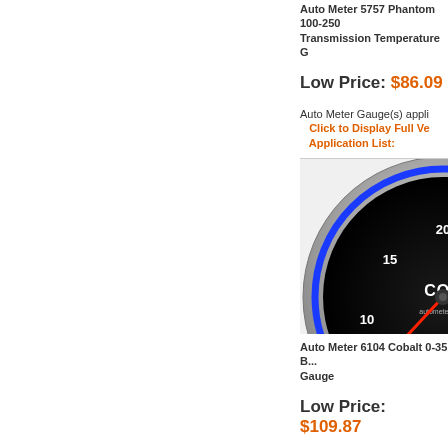Auto Meter 5757 Phantom 100-250 Transmission Temperature G
Low Price: $86.09
Auto Meter Gauge(s) appli...
Click to Display Full Ve Application List:
[Figure (photo): Auto Meter Cobalt gauge with black face showing BOOST PRESS PSI scale 0-35, blue ring, chrome bezel, red needle]
Auto Meter 6104 Cobalt 0-35 Boost Gauge
Low Price: $109.87
Auto Meter Gauge(s) appli...
Click to Display Full Ve...